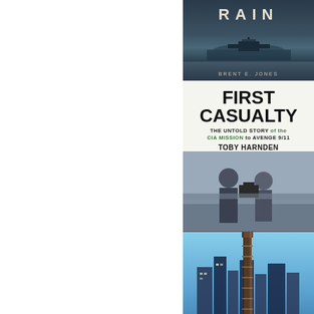[Figure (photo): Book cover: RAIN by Brent E. Jones — dark stormy sea with ship silhouette, gray tones]
[Figure (photo): Book cover: FIRST CASUALTY - The Untold Story of the CIA Mission to Avenge 9/11 by Toby Harnden — white top with bold black title, photo of two men with camera at bottom]
[Figure (photo): Book cover: JACKSONVILLE AND THE ROOTS OF SOUTHERN ROCK by Michael Ray FitzGerald — city skyline, guitar in foreground, blue sky]
[Figure (photo): Partial book cover: New York Times bestseller badge visible, scattered papers/documents on cover]